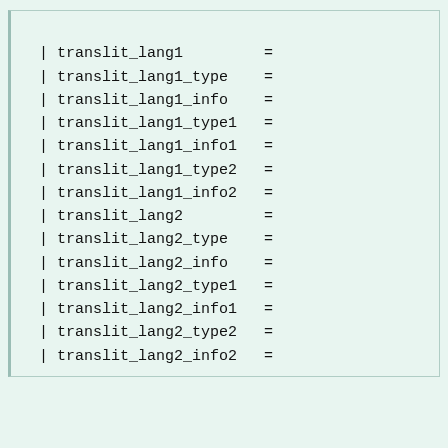<!-- transliteration(s) -------->
  | translit_lang1         =
  | translit_lang1_type    =
  | translit_lang1_info    =
  | translit_lang1_type1   =
  | translit_lang1_info1   =
  | translit_lang1_type2   =
  | translit_lang1_info2   = <!-- etc., up to translit_lang1_type6 / translit_lang1_info6 -->
  | translit_lang2         =
  | translit_lang2_type    =
  | translit_lang2_info    =
  | translit_lang2_type1   =
  | translit_lang2_info1   =
  | translit_lang2_type2   =
  | translit_lang2_info2   =